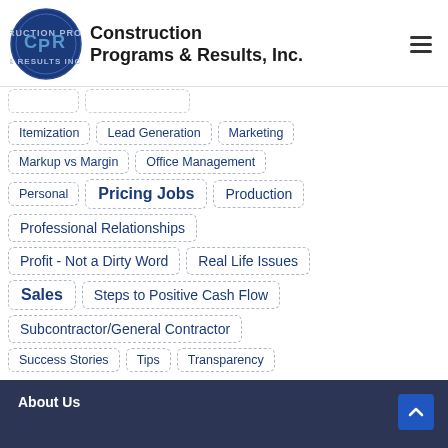[Figure (logo): Construction Programs & Results Inc. logo - circular blue emblem with CPR letters and company name to the right]
Itemization
Lead Generation
Marketing
Markup vs Margin
Office Management
Personal
Pricing Jobs
Production
Professional Relationships
Profit - Not a Dirty Word
Real Life Issues
Sales
Steps to Positive Cash Flow
Subcontractor/General Contractor
Success Stories
Tips
Transparency
About Us